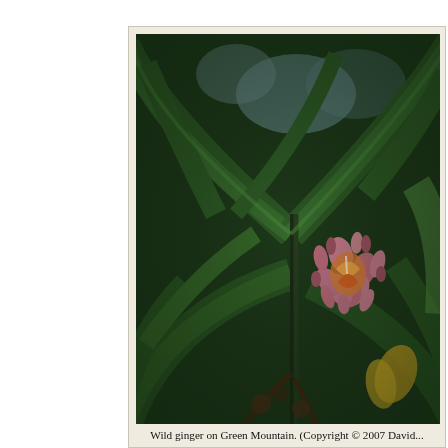[Figure (photo): Close-up photograph of wild ginger plant on Green Mountain, showing large dark green tropical leaves and a cluster of pink-purple and orange flowers in the center]
Wild ginger on Green Mountain. (Copyright © 2007 David...
[Figure (photo): Partial photograph at bottom of page, showing a white flower or plant specimen against a dark background]
On the good side, Joseph Dalton Hooker, a botanist,